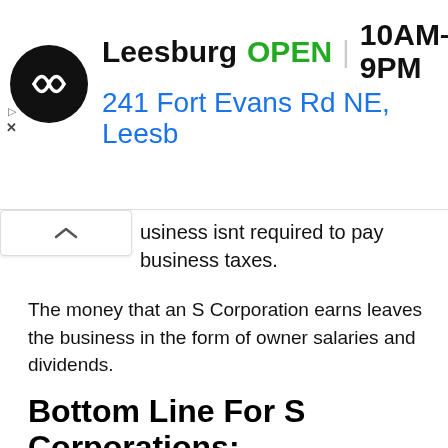[Figure (other): Advertisement banner for a store in Leesburg showing logo, open status, hours (10AM-9PM), and address 241 Fort Evans Rd NE, Leesb]
usiness isnt required to pay business taxes.
The money that an S Corporation earns leaves the business in the form of owner salaries and dividends.
Bottom Line For S Corporations:
Pros:
An S corporation is cheaper to form than an LLC.
More people are familiar with the structure of an S corporation.
It can also...